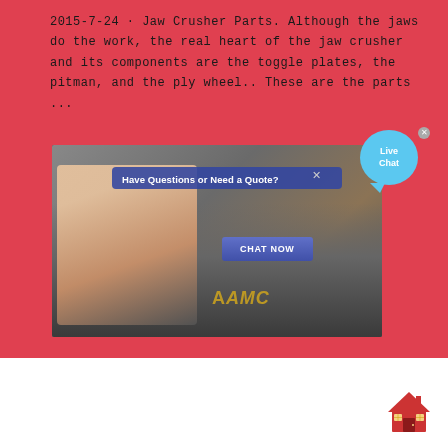2015-7-24 · Jaw Crusher Parts. Although the jaws do the work, the real heart of the jaw crusher and its components are the toggle plates, the pitman, and the ply wheel.. These are the parts ...
[Figure (screenshot): Screenshot of a webpage showing a jaw crusher machine image with an overlay popup reading 'Have Questions or Need a Quote?' with a 'CHAT NOW' button, and a 'Live Chat' speech bubble in the top right corner.]